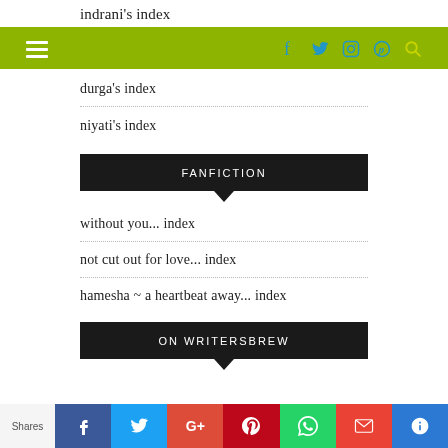indrani's index
[Figure (screenshot): Green navigation bar with hamburger menu icon and social media icons (Facebook, Twitter, Instagram, Pinterest) and search icon]
durga's index
niyati's index
FANFICTION
without you... index
not cut out for love... index
hamesha ~ a heartbeat away... index
ON WRITERSBREW
Shares | Facebook | Twitter | G+ | Pinterest | WhatsApp | Gmail | More